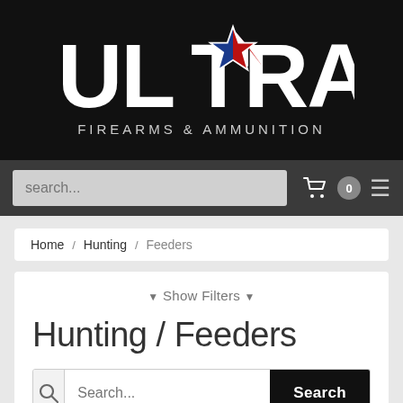[Figure (logo): Ultra Firearms & Ammunition logo — white bold ULTRA text with a Texas star in blue and red, subtitle FIREARMS & AMMUNITION in white spaced capitals, on black background]
search...  0  ≡
Home / Hunting / Feeders
▼ Show Filters ▼
Hunting / Feeders
Search...  Search
Sort by popularity